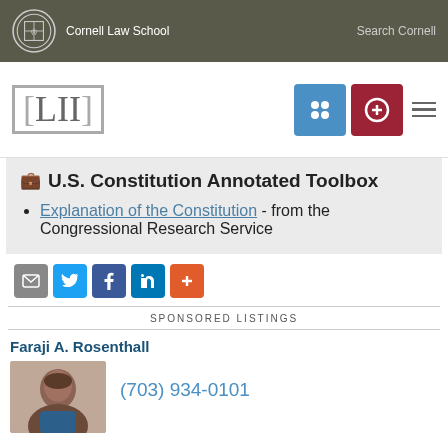Cornell Law School | Search Cornell
[Figure (logo): LII Legal Information Institute logo with navigation icons]
U.S. Constitution Annotated Toolbox
Explanation of the Constitution - from the Congressional Research Service
[Figure (infographic): Social share buttons: email, Twitter, Facebook, LinkedIn, plus]
SPONSORED LISTINGS
Faraji A. Rosenthall
(703) 934-0101